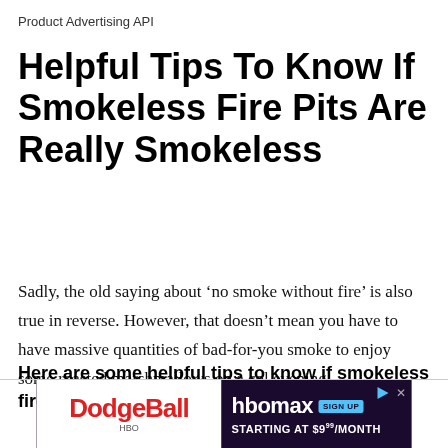Product Advertising API
Helpful Tips To Know If Smokeless Fire Pits Are Really Smokeless
Sadly, the old saying about ‘no smoke without fire’ is also true in reverse. However, that doesn’t mean you have to have massive quantities of bad-for-you smoke to enjoy some roasted marshmallows on a col evening.
Here are some helpful tips to know if smokeless fire pits are really smokeless.
[Figure (advertisement): HBO Max advertisement banner showing DodgeBall on HBO on the left side and HBO Max Sign Up Starting at $9.99/month on the right side with dark purple background]